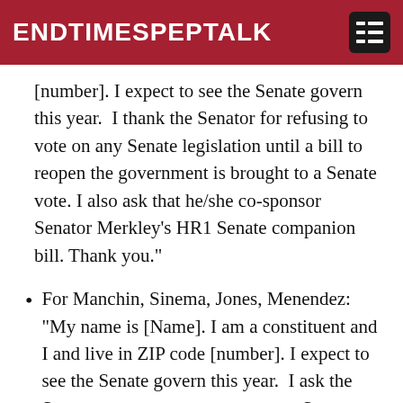ENDTIMESPEPTALK
[number]. I expect to see the Senate govern this year.  I thank the Senator for refusing to vote on any Senate legislation until a bill to reopen the government is brought to a Senate vote. I also ask that he/she co-sponsor Senator Merkley's HR1 Senate companion bill. Thank you."
For Manchin, Sinema, Jones, Menendez: "My name is [Name]. I am a constituent and I and live in ZIP code [number]. I expect to see the Senate govern this year.  I ask the Senator to vow not to vote on any Senate legislation until a bill to reopen the government is brought to a Senate vote. I also ask that he co-sponsor